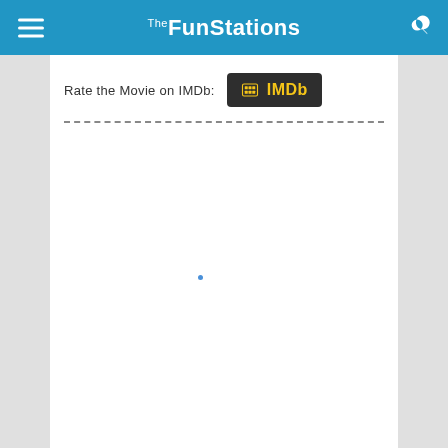The FunStations
Rate the Movie on IMDb: IMDb
[Figure (other): Dashed horizontal divider line]